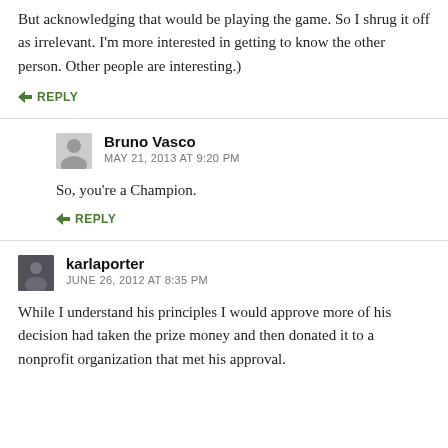But acknowledging that would be playing the game. So I shrug it off as irrelevant. I'm more interested in getting to know the other person. Other people are interesting.)
↳ REPLY
Bruno Vasco
MAY 21, 2013 AT 9:20 PM
So, you're a Champion.
↳ REPLY
karlaporter
JUNE 26, 2012 AT 8:35 PM
While I understand his principles I would approve more of his decision had taken the prize money and then donated it to a nonprofit organization that met his approval.